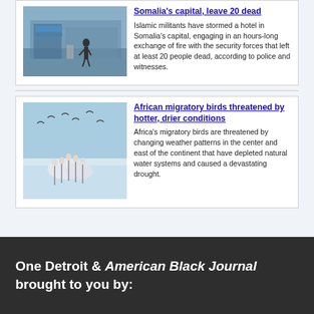[Figure (photo): Person standing in front of a building with painted murals, Somalia streetscape]
Somalia's capital, leave 20 dead
Islamic militants have stormed a hotel in Somalia's capital, engaging in an hours-long exchange of fire with the security forces that left at least 20 people dead, according to police and witnesses.
[Figure (photo): Flock of flamingos and migratory birds at a water source in Africa]
African migratory birds threatened by hotter, drier conditions
Africa's migratory birds are threatened by changing weather patterns in the center and east of the continent that have depleted natural water systems and caused a devastating drought.
One Detroit & American Black Journal brought to you by: